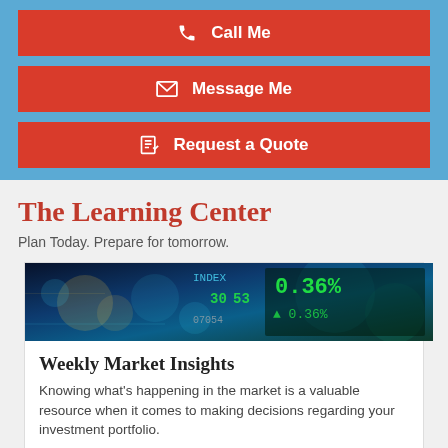[Figure (screenshot): Blue background panel with three red call-to-action buttons: Call Me, Message Me, Request a Quote]
The Learning Center
Plan Today. Prepare for tomorrow.
[Figure (photo): Stock market display board with green numbers showing INDEX, stock prices and percentage changes on dark blue background]
Weekly Market Insights
Knowing what's happening in the market is a valuable resource when it comes to making decisions regarding your investment portfolio.
Read Article...